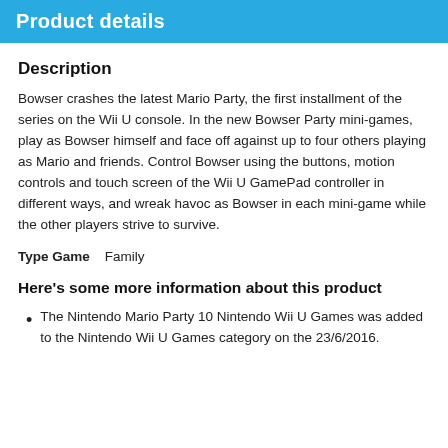Product details
Description
Bowser crashes the latest Mario Party, the first installment of the series on the Wii U console. In the new Bowser Party mini-games, play as Bowser himself and face off against up to four others playing as Mario and friends. Control Bowser using the buttons, motion controls and touch screen of the Wii U GamePad controller in different ways, and wreak havoc as Bowser in each mini-game while the other players strive to survive.
Type Game   Family
Here's some more information about this product
The Nintendo Mario Party 10 Nintendo Wii U Games was added to the Nintendo Wii U Games category on the 23/6/2016.